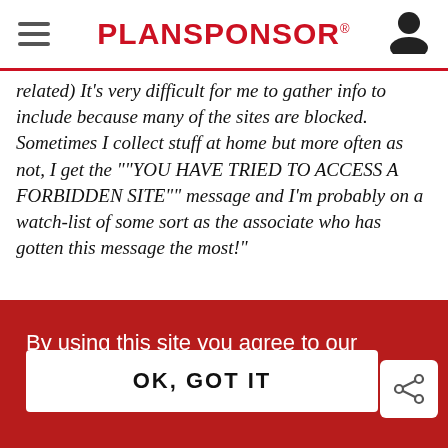PLANSPONSOR
related)  It's very difficult for me to gather info to include because many of the sites are blocked. Sometimes I collect stuff at home but more often as not, I get the ""YOU HAVE TRIED TO ACCESS A FORBIDDEN SITE"" message and I'm probably on a watch-list of some sort as the associate who has gotten this message the most!"
By using this site you agree to our network wide Privacy Policy.
OK, GOT IT